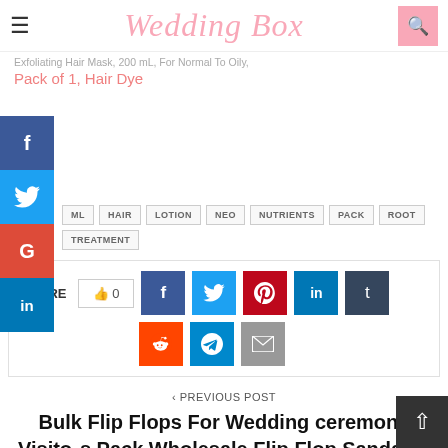Wedding Box
Pack of 1, Hair Dye
ML
HAIR
LOTION
NEO
NUTRIENTS
PACK
ROOT
TREATMENT
SHARE 0
< PREVIOUS POST
Bulk Flip Flops For Wedding ceremony Visitors Pack Wholesale Flip Flop Sandals | Twine Wrapped Individually with Ornamental Dimension Playing